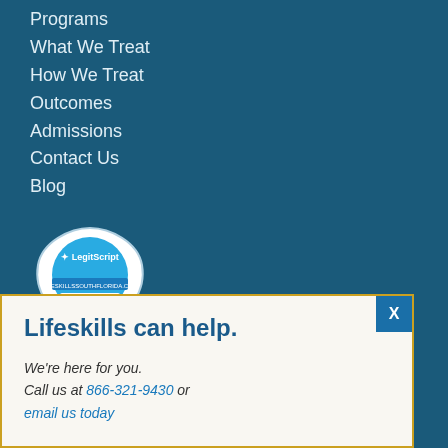Programs
What We Treat
How We Treat
Outcomes
Admissions
Contact Us
Blog
[Figure (logo): LegitScript Certified badge for lifeskillssouthflorida.com, dated 09/01/22]
Lifeskills can help.
We're here for you.
Call us at 866-321-9430 or email us today